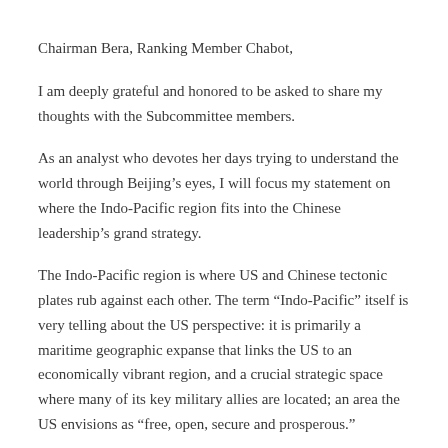Chairman Bera, Ranking Member Chabot,
I am deeply grateful and honored to be asked to share my thoughts with the Subcommittee members.
As an analyst who devotes her days trying to understand the world through Beijing’s eyes, I will focus my statement on where the Indo-Pacific region fits into the Chinese leadership’s grand strategy.
The Indo-Pacific region is where US and Chinese tectonic plates rub against each other. The term “Indo-Pacific” itself is very telling about the US perspective: it is primarily a maritime geographic expanse that links the US to an economically vibrant region, and a crucial strategic space where many of its key military allies are located; an area the US envisions as “free, open, secure and prosperous.”
There is no “Indo-Pacific” in Beijing’s conception. The region is in fact included as part of China’s “periphery.” Here too, the term itself is very telling about the Chinese perspective: China is at the center and at the top of a 360-degree peripheral zone that expands over both the continental and maritime